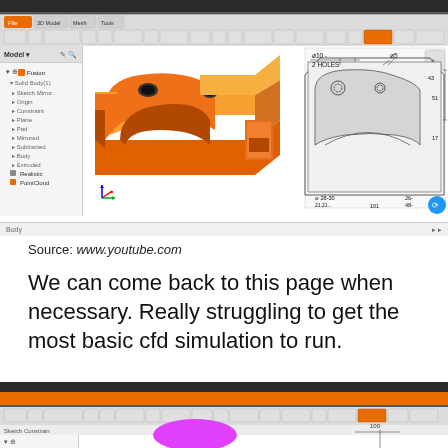[Figure (screenshot): CAD software screenshot (Autodesk Fusion 360) showing an orange 3D mechanical part (bracket/clamp with two holes) in the 3D model viewport on the left, and a 2D technical engineering drawing with dimensions (ø10, 2 HOLES, ø5, various dimension lines and measurements) on the right side of the canvas. Left panel shows model tree. Toolbar visible at top.]
Source: www.youtube.com
We can come back to this page when necessary. Really struggling to get the most basic cfd simulation to run.
[Figure (screenshot): Partial screenshot of CAD/CFD software (Autodesk) showing toolbar at top, left model panel, and a magenta/pink 3D shape beginning to appear at the bottom of the viewport.]